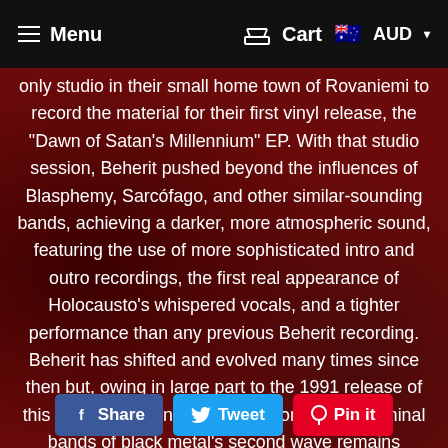Menu  |  Cart  AUD
only studio in their small home town of Rovaniemi to record the material for their first vinyl release, the “Dawn of Satan’s Millennium” EP.  With that studio session, Beherit pushed beyond the influences of Blasphemy, Sarcófago, and other similar-sounding bands, achieving a darker, more atmospheric sound, featuring the use of more sophisticated intro and outro recordings, the first real appearance of Holocausto’s whispered vocals, and a tighter performance than any previous Beherit recording. Beherit has shifted and evolved many times since then but, owing in large part to the 1991 release of this album, the band’s legacy as one of the seminal bands of black metal’s second wave remains unaltered. This new edition of “The Oath of Black Blood” commemorates 30 years since the original release of these recordings.
Share
Tweet
Pin it